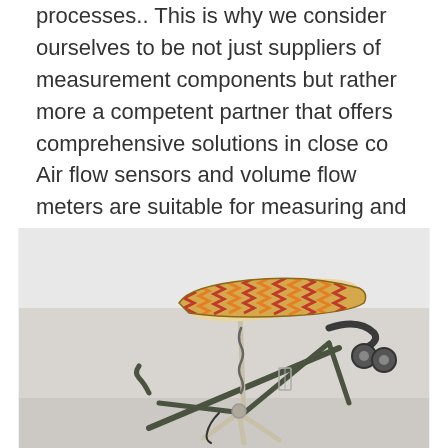processes.. This is why we consider ourselves to be not just suppliers of measurement components but rather more a competent partner that offers comprehensive solutions in close co Air flow sensors and volume flow meters are suitable for measuring and controlling volume flows in ventilation and air conditioning systems.
[Figure (photo): A bicycle with a colorful patterned seat (orange, red, yellow geometric pattern) on a metal stand/frame, photographed against a light gray/white wall background. The image shows the rear portion of the bike including the seat post, saddle, and part of the frame.]